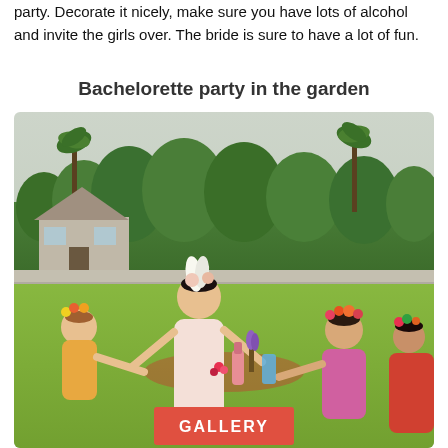party. Decorate it nicely, make sure you have lots of alcohol and invite the girls over. The bride is sure to have a lot of fun.
Bachelorette party in the garden
[Figure (photo): Women at an outdoor bachelorette party in a garden, wearing flower crowns, toasting with colorful drinks. Background shows lush green trees, palm trees, mountains, and a house. A red 'GALLERY' button overlay is at the bottom.]